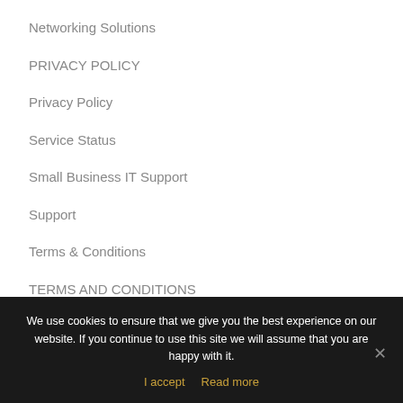Networking Solutions
PRIVACY POLICY
Privacy Policy
Service Status
Small Business IT Support
Support
Terms & Conditions
TERMS AND CONDITIONS
TERMS OF WEBSITE USE
We use cookies to ensure that we give you the best experience on our website. If you continue to use this site we will assume that you are happy with it.
I accept   Read more